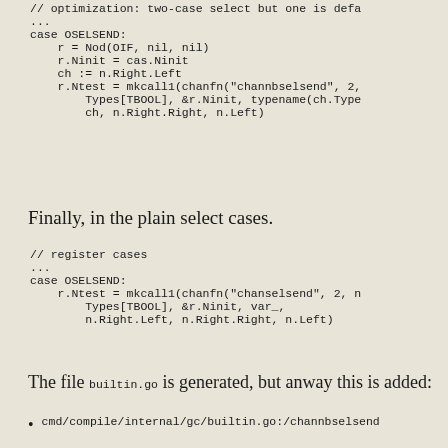// optimization: two-case select but one is defa
...
case OSELSEND:
    r = Nod(OIF, nil, nil)
    r.Ninit = cas.Ninit
    ch := n.Right.Left
    r.Ntest = mkcall1(chanfn("channbselsend", 2,
        Types[TBOOL], &r.Ninit, typename(ch.Type
        ch, n.Right.Right, n.Left)
Finally, in the plain select cases.
// register cases
...
case OSELSEND:
    r.Ntest = mkcall1(chanfn("chanselsend", 2, n
        Types[TBOOL], &r.Ninit, var_,
        n.Right.Left, n.Right.Right, n.Left)
The file builtin.go is generated, but anway this is added:
cmd/compile/internal/gc/builtin.go:/channbselsend